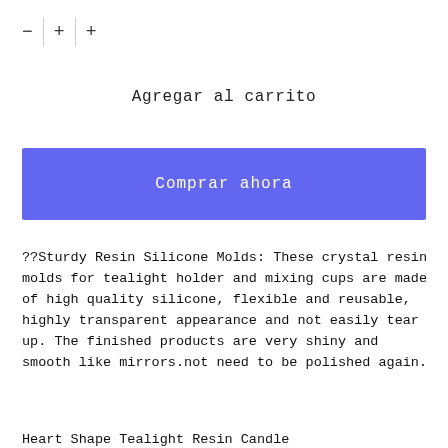— + +
Agregar al carrito
Comprar ahora
??Sturdy Resin Silicone Molds: These crystal resin molds for tealight holder and mixing cups are made of high quality silicone, flexible and reusable, highly transparent appearance and not easily tear up. The finished products are very shiny and smooth like mirrors.not need to be polished again.
Heart Shape Tealight Resin Candle